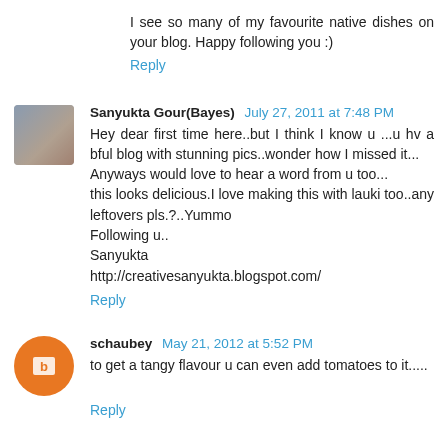I see so many of my favourite native dishes on your blog. Happy following you :)
Reply
Sanyukta Gour(Bayes)  July 27, 2011 at 7:48 PM
Hey dear first time here..but I think I know u ...u hv a bful blog with stunning pics..wonder how I missed it...
Anyways would love to hear a word from u too...
this looks delicious.I love making this with lauki too..any leftovers pls.?..Yummo
Following u..
Sanyukta
http://creativesanyukta.blogspot.com/
Reply
schaubey  May 21, 2012 at 5:52 PM
to get a tangy flavour u can even add tomatoes to it.....
Reply